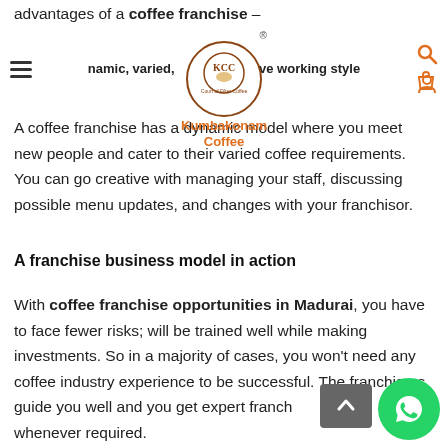advantages of a coffee franchise –
Kumbakonam Coffee [logo] ® — namic, varied, creative working style Coffee
A coffee franchise has a dynamic model where you meet new people and cater to their varied coffee requirements. You can go creative with managing your staff, discussing possible menu updates, and changes with your franchisor.
A franchise business model in action
With coffee franchise opportunities in Madurai, you have to face fewer risks; will be trained well while making investments. So in a majority of cases, you won't need any coffee industry experience to be successful. The franchisors guide you well and you get expert franchisor advice whenever required.